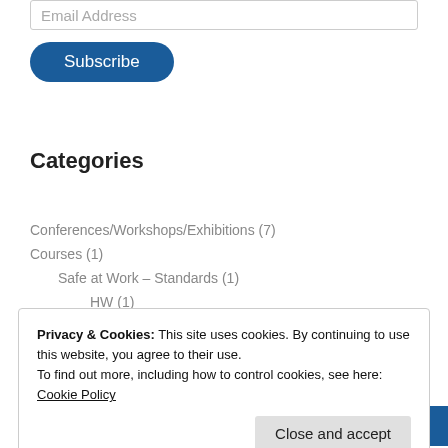Email Address
Subscribe
Categories
Conferences/Workshops/Exhibitions (7)
Courses (1)
Safe at Work – Standards (1)
HW (1)
General (3)
Privacy & Cookies: This site uses cookies. By continuing to use this website, you agree to their use. To find out more, including how to control cookies, see here: Cookie Policy
Close and accept
3d printing 2012 artificial automations DUTH festival